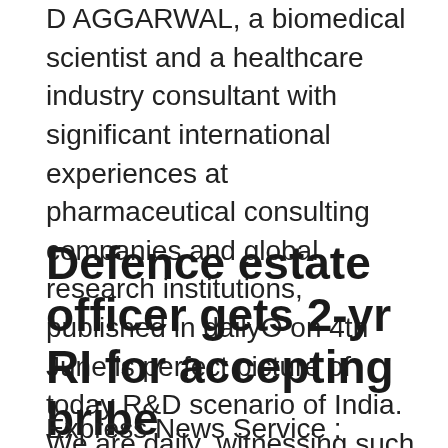D AGGARWAL, a biomedical scientist and a healthcare industry consultant with significant international experiences at pharmaceutical consulting companies and global research institutions, published in dailyO on 4th June is perfect picture of today R&D scenario of India. We are daily  witnessing such worth of 1000 of crores scientific instruments [...]
Defence estate officer gets 2-yr RI for accepting bribe
September 15, 2013 By Prabhu — Leave a Comment
Express News Service : Pune, Tue Sep 03 2013,